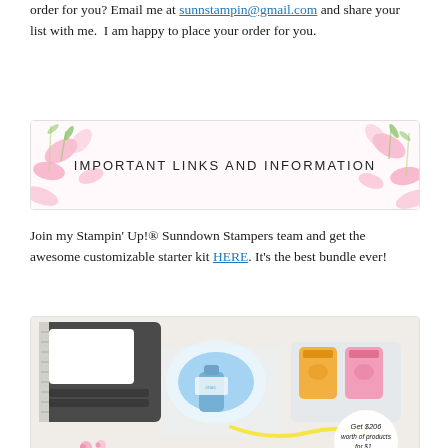order for you? Email me at sunnstampin@gmail.com and share your list with me.  I am happy to place your order for you.
[Figure (illustration): Banner with pink floral/orchid background and bold text reading IMPORTANT LINKS AND INFORMATION]
Join my Stampin' Up!® Sunndown Stampers team and get the awesome customizable starter kit HERE. It's the best bundle ever!
[Figure (photo): Photo of Stampin Up starter kit products including a stamp platform, snail adhesive, clear stamps in mason jar shapes, and a circular label reading Get $206 worth of products for $1...]